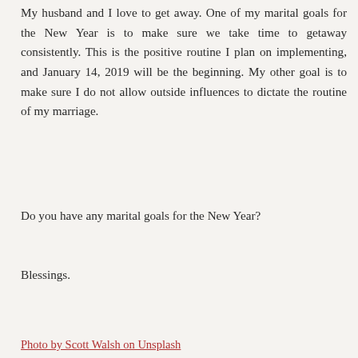My husband and I love to get away. One of my marital goals for the New Year is to make sure we take time to getaway consistently. This is the positive routine I plan on implementing, and January 14, 2019 will be the beginning. My other goal is to make sure I do not allow outside influences to dictate the routine of my marriage.
Do you have any marital goals for the New Year?
Blessings.
Photo by Scott Walsh on Unsplash